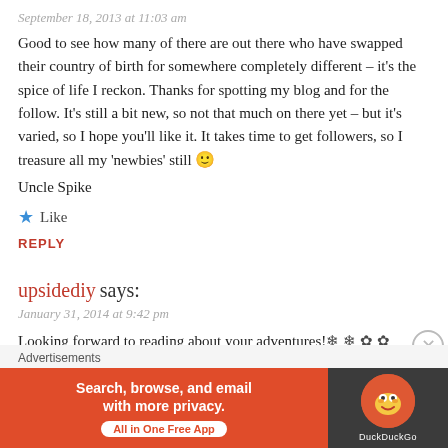September 18, 2013 at 11:03 am
Good to see how many of there are out there who have swapped their country of birth for somewhere completely different – it's the spice of life I reckon. Thanks for spotting my blog and for the follow. It's still a bit new, so not that much on there yet – but it's varied, so I hope you'll like it. It takes time to get followers, so I treasure all my 'newbies' still 🙂
Uncle Spike
★ Like
REPLY
upsidediy says:
January 31, 2014 at 9:42 pm
Looking forward to reading about your adventures!❄ ❄ ✿ ✿
★ Like
[Figure (screenshot): DuckDuckGo advertisement banner: orange left side with text 'Search, browse, and email with more privacy. All in One Free App', dark right side with DuckDuckGo duck logo]